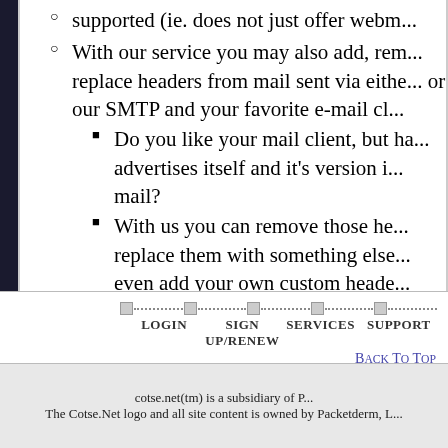With our service you may also add, remove, or replace headers from mail sent via either our webmail or our SMTP and your favorite e-mail client.
Do you like your mail client, but hate how it advertises itself and it's version in every piece of mail?
With us you can remove those headers, or replace them with something else. You can even add your own custom headers if you want.
Automatically translate e-mail from other languages into a language you can read.
Calendar and todo lists.
The ability to store and index notes and is included too.
LOGIN   SIGN UP/RENEW   SERVICES   SUPPORT   Back To Top
cotse.net(tm) is a subsidiary of P... The Cotse.Net logo and all site content is owned by Packetderm, L...